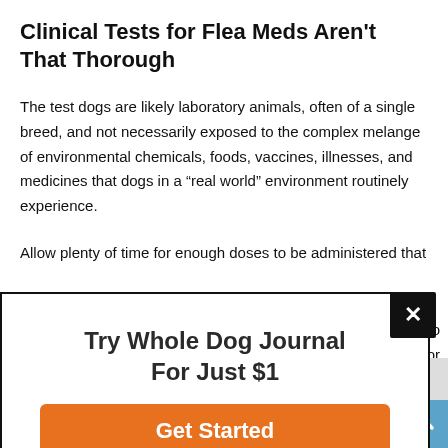Clinical Tests for Flea Meds Aren't That Thorough
The test dogs are likely laboratory animals, often of a single breed, and not necessarily exposed to the complex melange of environmental chemicals, foods, vaccines, illnesses, and medicines that dogs in a “real world” environment routinely experience.
Allow plenty of time for enough doses to be administered that
[Figure (other): A modal popup advertisement: 'Try Whole Dog Journal For Just $1' with an orange 'Get Started' button and a black X close button in the top-right corner.]
[Figure (other): Scroll-to-top button (blue square with white up-arrow chevron) in the bottom-right corner.]